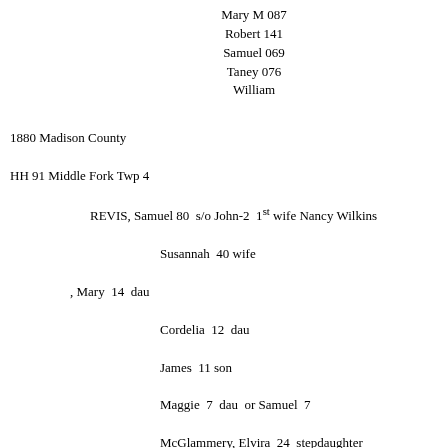Mary M  087
Robert  141
Samuel  069
Taney  076
William
1880 Madison County
HH 91 Middle Fork Twp 4
        REVIS, Samuel 80  s/o John-2  1st wife Nancy Wilkins
                Susannah  40 wife
        , Mary  14  dau
                Cordelia  12  dau
                James  11 son
                Maggie  7  dau  or Samuel  7
                McGlammery, Elvira  24  stepdaughter
HH 11 Bull Crk Twp 3
        REVIS, George  19  laborer lv with Wm and Mary E. Banks Hunter both 50

HH 427 Marshall Twp #1
        REVIS, J.M.  36
                Mary (Cole) 29 wf
                James D.  10  son
                Virginia  9  dau
                Barnet  2 months b Apr 1880
        Cole, Jesse  22 farm labor  prob bo of Mary

1880 Buncombe  Co  Revis, William  66
                Emma  65